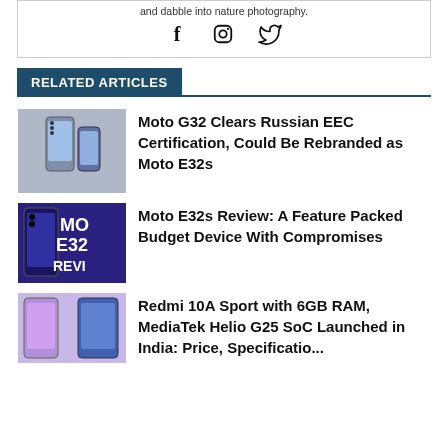and dabble into nature photography.
[Figure (other): Social media icons: Facebook, Instagram, Twitter]
RELATED ARTICLES
[Figure (photo): Moto G32 smartphone product image]
Moto G32 Clears Russian EEC Certification, Could Be Rebranded as Moto E32s
[Figure (photo): Moto E32s Review cover image with phone and text overlay]
Moto E32s Review: A Feature Packed Budget Device With Compromises
[Figure (photo): Redmi 10A Sport smartphones product image]
Redmi 10A Sport with 6GB RAM, MediaTek Helio G25 SoC Launched in India: Price, Specificatio...